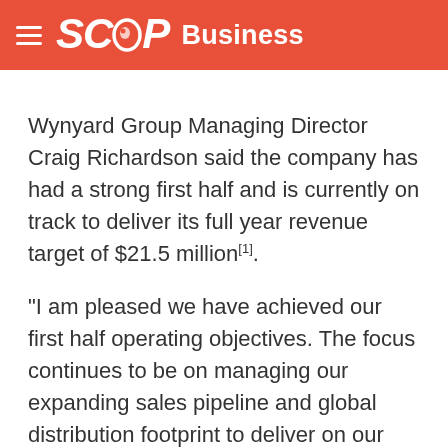SCOOP Business
Wynyard Group Managing Director Craig Richardson said the company has had a strong first half and is currently on track to deliver its full year revenue target of $21.5 million[1].
“I am pleased we have achieved our first half operating objectives. The focus continues to be on managing our expanding sales pipeline and global distribution footprint to deliver on our key customer service and growth milestones.”
Richardson said that Wynyard Group was benefiting from global media and attention on the use of